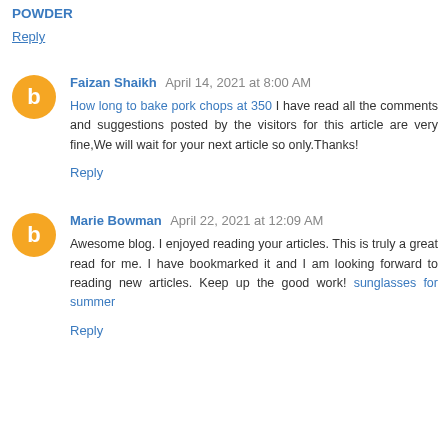POWDER
Reply
Faizan Shaikh  April 14, 2021 at 8:00 AM
How long to bake pork chops at 350 I have read all the comments and suggestions posted by the visitors for this article are very fine,We will wait for your next article so only.Thanks!
Reply
Marie Bowman  April 22, 2021 at 12:09 AM
Awesome blog. I enjoyed reading your articles. This is truly a great read for me. I have bookmarked it and I am looking forward to reading new articles. Keep up the good work! sunglasses for summer
Reply